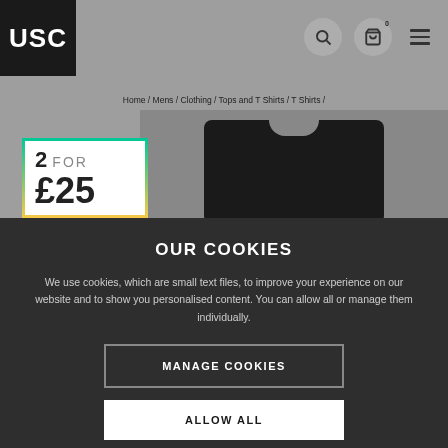[Figure (screenshot): USC retail website header with logo, search icon, bag icon with 0 badge, and hamburger menu icon on grey background]
Home / Mens / Clothing / Tops and T Shirts / T Shirts / Paul Smith Underwear Chest Logo T Shirt
[Figure (illustration): 2 FOR £25 promotional banner with gradient border (green to yellow)]
[Figure (photo): Black Paul Smith t-shirt on grey background]
OUR COOKIES
We use cookies, which are small text files, to improve your experience on our website and to show you personalised content. You can allow all or manage them individually.
MANAGE COOKIES
ALLOW ALL